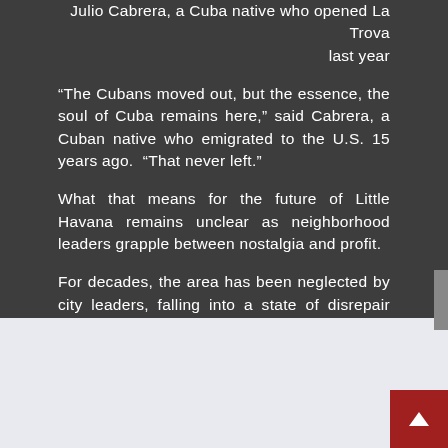Julio Cabrera, a Cuba native who opened La Trova last year
“The Cubans moved out, but the essence, the soul of Cuba remains here,” said Cabrera, a Cuban native who emigrated to the U.S. 15 years ago. “That never left.”
What that means for the future of Little Havana remains unclear as neighborhood leaders grapple between nostalgia and profit.
For decades, the area has been neglected by city leaders, falling into a state of disrepair throughout the 1990s and 2000s. It experienced a resurgence in the past decade as more bars and restaurants opened, and double-decker tour buses made the neighborhood a regular stop on their tours of Miami.
[Figure (other): Light gray content area at the bottom of the page with a red scroll-to-top button in the bottom right corner]